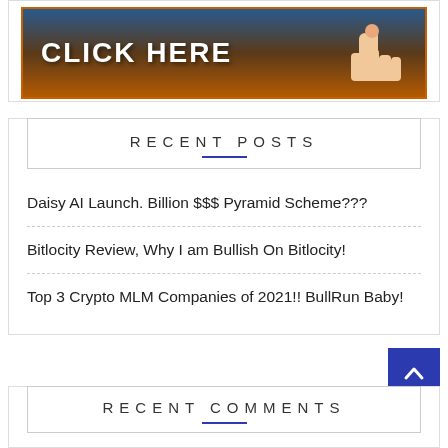[Figure (illustration): Orange and brown gradient banner with 'CLICK HERE' text in white bold letters and a hand pointing cursor icon on the right.]
RECENT POSTS
Daisy AI Launch. Billion $$$ Pyramid Scheme???
Bitlocity Review, Why I am Bullish On Bitlocity!
Top 3 Crypto MLM Companies of 2021!! BullRun Baby!
RECENT COMMENTS